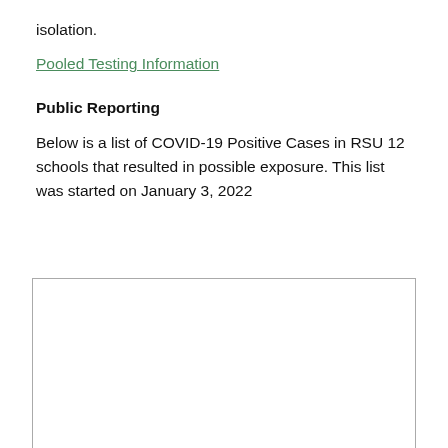isolation.
Pooled Testing Information
Public Reporting
Below is a list of COVID-19 Positive Cases in RSU 12 schools that resulted in possible exposure. This list was started on January 3, 2022